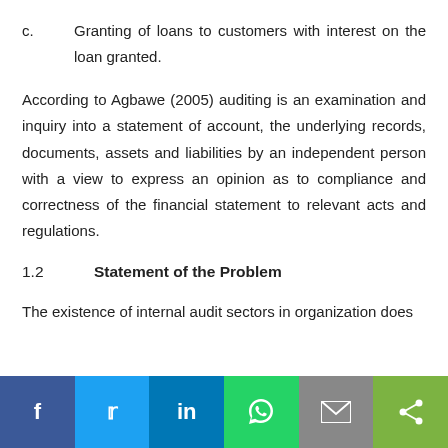c.        Granting of loans to customers with interest on the loan granted.
According to Agbawe (2005) auditing is an examination and inquiry into a statement of account, the underlying records, documents, assets and liabilities by an independent person with a view to express an opinion as to compliance and correctness of the financial statement to relevant acts and regulations.
1.2        Statement of the Problem
The existence of internal audit sectors in organization does
f  t  in  [whatsapp icon]  [mail icon]  [share icon]